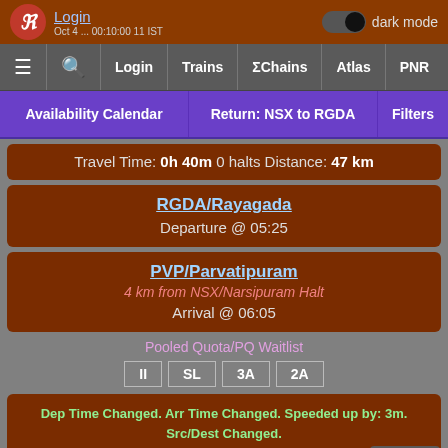Login | dark mode | ≡ 🔍 Login Trains ΣChains Atlas PNR
Availability Calendar | Return: NSX to RGDA | Filters
Travel Time: 0h 40m  0 halts  Distance: 47 km
RGDA/Rayagada
Departure @ 05:25
PVP/Parvatipuram
4 km from NSX/Narsipuram Halt
Arrival @ 06:05
Pooled Quota/PQ Waitlist
II  SL  3A  2A
Dep Time Changed. Arr Time Changed. Speeded up by: 3m. Src/Dest Changed.
TT Updated: Jul 31 (12:59) by Indrakeeladri_Express^~
Scroll to Bottom